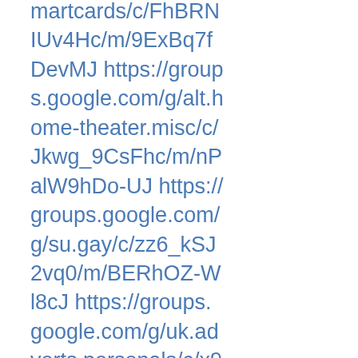martcards/c/FhBRNIUv4Hc/m/9ExBq7f DevMJ https://groups.google.com/g/alt.home-theater.misc/c/Jkwg_9CsFhc/m/nPalW9hDo-UJ https://groups.google.com/g/su.gay/c/zz6_kSJ2vq0/m/BERhOZ-Wl8cJ https://groups.google.com/g/uk.adverts.personals/c/x9kxu5ARt_4/m/0mD4YalMcoEJ https://groups.google.com/g/mozilla.support.bugzilla/c/hUzZyHUZ7Ik/m/ri2l7yc9Ay8J https://groups.google.com/g/alt.os.linux.slackware/c/rGdyXylLajY/m/KUvjLdq6tREJ
https://groups.google.com/g/fj.comp.lang.st80/c/Hi1R-07jUSk/m/fxDHXbh69gkJ https://groups.google.com/g/comp.em